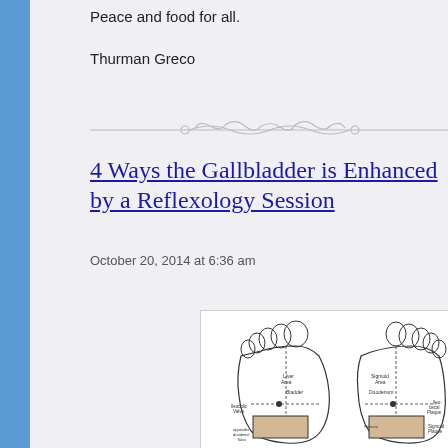Peace and food for all.
Thurman Greco
4 Ways the Gallbladder is Enhanced by a Reflexology Session
October 20, 2014 at 6:36 am
[Figure (illustration): Hand-drawn diagram of two feet (bottom view) with reflexology zone labels including 'Liver Area', 'Bladder', 'Ileocolic Valve', 'Appendix Duodenal Talus', 'Sigmoid Flexure', 'Ileo-cecal Plaque', 'Sigmoid Flexure', 'Sacrum', 'Small Intestine', 'Sigmoid Plaque']